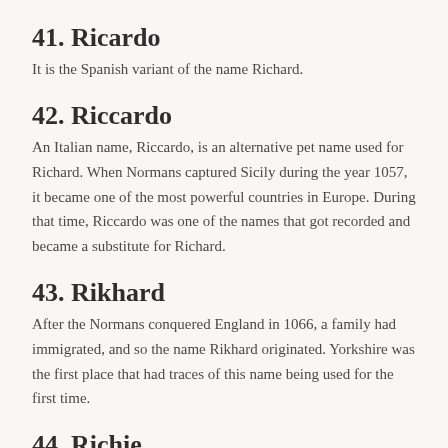41. Ricardo
It is the Spanish variant of the name Richard.
42. Riccardo
An Italian name, Riccardo, is an alternative pet name used for Richard. When Normans captured Sicily during the year 1057, it became one of the most powerful countries in Europe. During that time, Riccardo was one of the names that got recorded and became a substitute for Richard.
43. Rikhard
After the Normans conquered England in 1066, a family had immigrated, and so the name Rikhard originated. Yorkshire was the first place that had traces of this name being used for the first time.
44. Richie